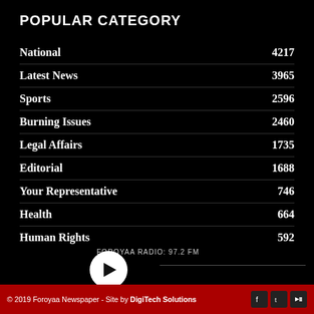POPULAR CATEGORY
National  4217
Latest News  3965
Sports  2596
Burning Issues  2460
Legal Affairs  1735
Editorial  1688
Your Representative  746
Health  664
Human Rights  592
FOROYAA RADIO: 97.2 FM
© 2019 Foroyaa Newspaper - Site by DigiTech Solutions